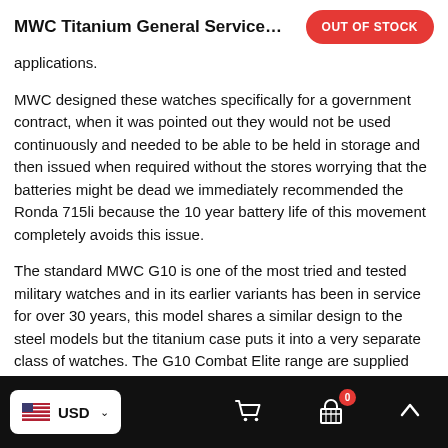MWC Titanium General Service Wat… OUT OF STOCK
applications.
MWC designed these watches specifically for a government contract, when it was pointed out they would not be used continuously and needed to be able to be held in storage and then issued when required without the stores worrying that the batteries might be dead we immediately recommended the Ronda 715li because the 10 year battery life of this movement completely avoids this issue.
The standard MWC G10 is one of the most tried and tested military watches and in its earlier variants has been in service for over 30 years, this model shares a similar design to the steel models but the titanium case puts it into a very separate class of watches. The G10 Combat Elite range are supplied with a NATO webbing strap. The reverse of the case carries various contract markings.
Specification:
USD  [cart icon] [basket icon] 0 [up arrow]